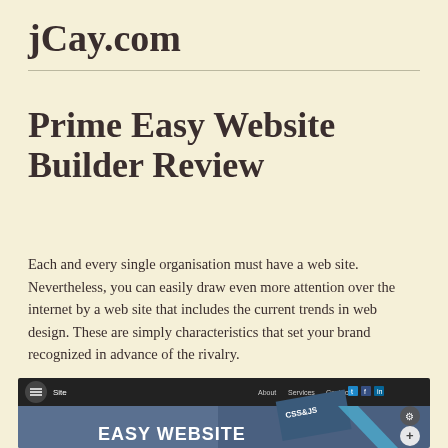jCay.com
Prime Easy Website Builder Review
Each and every single organisation must have a web site. Nevertheless, you can easily draw even more attention over the internet by a web site that includes the current trends in web design. These are simply characteristics that set your brand recognized in advance of the rivalry.
[Figure (screenshot): Screenshot of a website builder interface showing a dark navigation bar with hamburger menu, 'Site' label, navigation links (About, Services, Contacts) and social media icons. Below is a hero section with a laptop image, CSS&JS text, and large 'EASY WEBSITE' text overlay in white.]